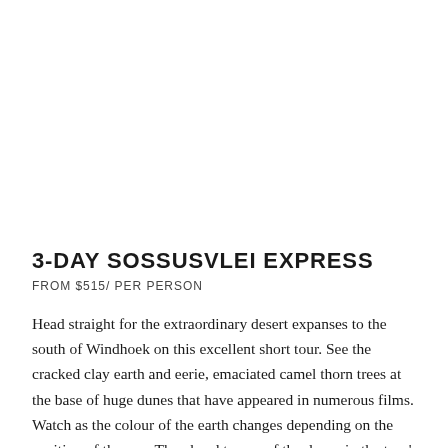3-DAY SOSSUSVLEI EXPRESS
FROM $515/ PER PERSON
Head straight for the extraordinary desert expanses to the south of Windhoek on this excellent short tour. See the cracked clay earth and eerie, emaciated camel thorn trees at the base of huge dunes that have appeared in numerous films. Watch as the colour of the earth changes depending on the position of the sun. Then head to one of the dunes in the tour's transport and attempt to climb to the top on foot, before sliding back down the side to the bottom. Finally,